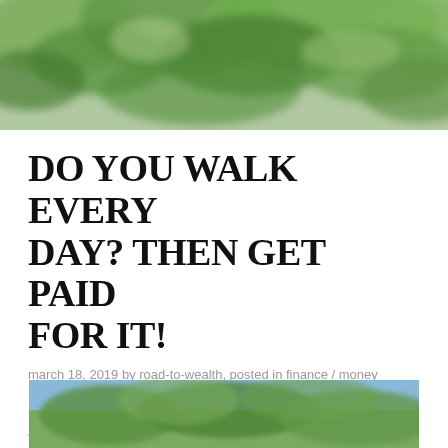[Figure (photo): Blurred outdoor nature photo showing green leafy trees at the top of the page as a hero/banner image]
DO YOU WALK EVERY DAY? THEN GET PAID FOR IT!
march 18, 2019 by road-to-wealth, posted in finance / money
DISCLAIMER: LINKS IN THIS POST MAY CONTAIN AFFILIATE LINKS. HONESTY ABOVE ALL. PLEASE READ OUR DISCLOSURE POLICY HERE.
[Figure (photo): Outdoor nature/park photo at the bottom of the page, partially visible, showing trees and sky]